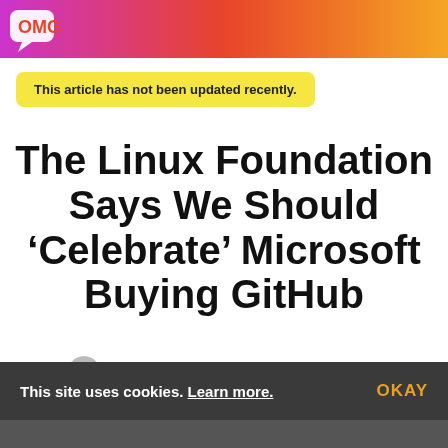OMG Ubuntu! (site header banner)
This article has not been updated recently.
The Linux Foundation Says We Should ‘Celebrate’ Microsoft Buying GitHub
By Joey Sneddon · Updated 17 June 2018
This site uses cookies. Learn more. OKAY